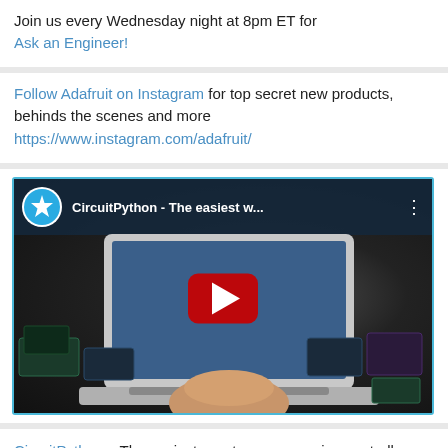Join us every Wednesday night at 8pm ET for Ask an Engineer!
Follow Adafruit on Instagram for top secret new products, behinds the scenes and more https://www.instagram.com/adafruit/
[Figure (screenshot): YouTube video thumbnail showing CircuitPython - The easiest w... with play button overlay, Adafruit logo, and laptop with circuit boards]
CircuitPython – The easiest way to program microcontrollers – CircuitPython.org